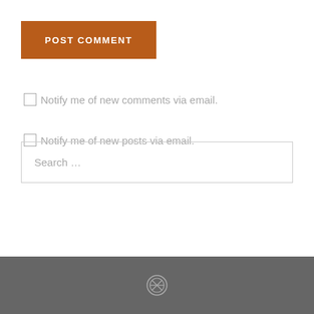POST COMMENT
Notify me of new comments via email.
Notify me of new posts via email.
Search …
[Figure (logo): WordPress logo in footer]